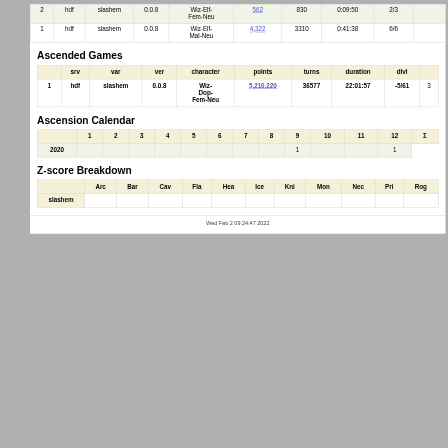|  | srv | var | ver | character | points | turns | duration | dlvl |  |
| --- | --- | --- | --- | --- | --- | --- | --- | --- | --- |
| 2 | hdf | slashem | 0.0.8 | Wiz-Elf-Fem-Neu | 562 | 830 | 0:09:50 | 2/3 |  |
| 1 | hdf | slashem | 0.0.8 | Wiz-Elf-Mal-Neu | 4,322 | 3310 | 0:41:38 | 6/6 |  |
Ascended Games
|  | srv | var | ver | character | points | turns | duration | dlvl |  |
| --- | --- | --- | --- | --- | --- | --- | --- | --- | --- |
| 1 | hdf | slashem | 0.0.8 | Wiz-Dop-Fem-Neu | 5,210,220 | 36577 | 22:01:57 | -5/61 | 3 |
Ascension Calendar
|  | 1 | 2 | 3 | 4 | 5 | 6 | 7 | 8 | 9 | 10 | 11 | 12 | Σ |
| --- | --- | --- | --- | --- | --- | --- | --- | --- | --- | --- | --- | --- | --- |
| 2020 |  |  |  |  |  |  |  |  | 1 |  |  | 1 |
Z-score Breakdown
|  | Arc | Bar | Cav | Fla | Hea | Ice | Kni | Mon | Nec | Pri | Rog |
| --- | --- | --- | --- | --- | --- | --- | --- | --- | --- | --- | --- |
| slashem |  |  |  |  |  |  |  |  |  |  |  |
Wed Feb 2 09:24:47 2022